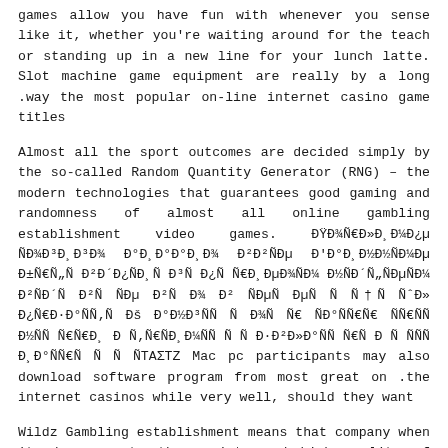games allow you have fun with whenever you sense like it, whether you're waiting around for the teach or standing up in a new line for your lunch latte. Slot machine game equipment are really by a long .way the most popular on-line internet casino game titles
Almost all the sport outcomes are decided simply by the so-called Random Quantity Generator (RNG) – the modern technologies that guarantees good gaming and randomness of almost all online gambling establishment video games. ÐŸÐ¾ÑÐ»Ð¼Ðµ Ñ‚Ð¾Ð³Ð´Ð¾ Ð°Ð°Ð°Ð² Ð²ÑÐµ Ð'Ð°Ð°Ð½Ð½Ñ Ð¼Ðµ Ð±ÑƒÐ'Ñ„Ñ Ð²Ð´Ð¿Ñ ÐµÐ¾Ð°Ð½Ñ Ð³Ð¼Ð¼Ð±Ð»Ð¸Ð½Ð³Ñ€ÐµÐ¾Ð¼ Ð½Ñ Ð´Ð½Ñ„ÐµÐ¼Ð¼Ñ Ð²Ñ Ð´Ñ Ð²Ñ ÑÐµ Ð²Ñ‚Ð¾ Ð² ÑÐµ»ÐµÐ¼Ð°Ñ Ñ†Ð½ÑˆÐ» Ð¿Ð·Ð¾Ñ Ñ‚Ñ Ð°Ð½Ð³Ñ Ð Ð¿Ñ‹Ð°Ð°Ñ€Ð¿ Ð»Ñ‹Ð°Ð°Ñ Ð¿Ñ€ Ð¿Ð«Ð¿Ð»Ð°Ñ Ñ‚Ð¾Ñ‚Ñ€Ñ Ð Ð¿Ñ‚Ð°Ñ€Ñ ÐµÑ‡Ð°Ñ„Ñ€ Ð¶Ñ€ Mac pc participants may also download software program from most great on .the internet casinos while very well, should they want
Wildz Gambling establishment means that company when it shows up to the variety and high quality of gambling establishment video games that it gives. No longer be anxious if you've fixed upwards to an online